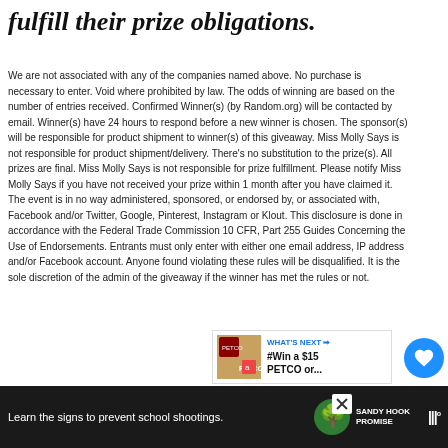fulfill their prize obligations.
We are not associated with any of the companies named above. No purchase is necessary to enter. Void where prohibited by law. The odds of winning are based on the number of entries received. Confirmed Winner(s) (by Random.org) will be contacted by email. Winner(s) have 24 hours to respond before a new winner is chosen. The sponsor(s) will be responsible for product shipment to winner(s) of this giveaway. Miss Molly Says is not responsible for product shipment/delivery. There's no substitution to the prize(s). All prizes are final. Miss Molly Says is not responsible for prize fulfillment. Please notify Miss Molly Says if you have not received your prize within 1 month after you have claimed it. The event is in no way administered, sponsored, or endorsed by, or associated with, Facebook and/or Twitter, Google, Pinterest, Instagram or Klout. This disclosure is done in accordance with the Federal Trade Commission 10 CFR, Part 255 Guides Concerning the Use of Endorsements. Entrants must only enter with either one email address, IP address and/or Facebook account. Anyone found violating these rules will be disqualified. It is the sole discretion of the admin of the giveaway if the winner has met the rules or not.
[Figure (other): WHAT'S NEXT panel showing a thumbnail image and text '#Win a $15 PETCO or...']
[Figure (other): Advertisement bar at the bottom with text 'Learn the signs to prevent school shootings.' and Sandy Hook Promise logo]